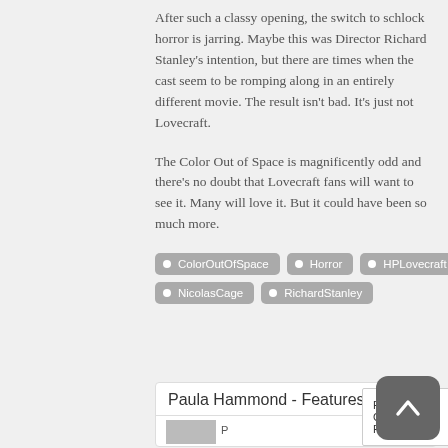After such a classy opening, the switch to schlock horror is jarring. Maybe this was Director Richard Stanley's intention, but there are times when the cast seem to be romping along in an entirely different movie. The result isn't bad. It's just not Lovecraft.
The Color Out of Space is magnificently odd and there's no doubt that Lovecraft fans will want to see it. Many will love it. But it could have been so much more.
ColorOutOfSpace
Horror
HPLovecraft
NicolasCage
RichardStanley
Paula Hammond - Features Editor
Privacy & Cookies Policy